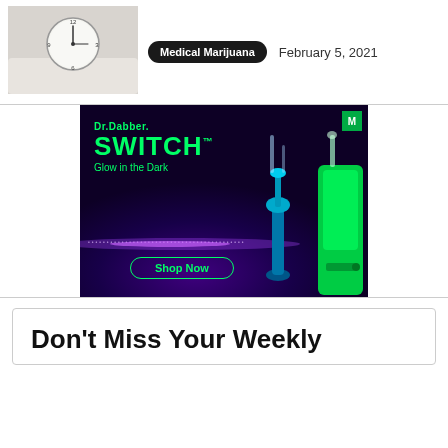[Figure (photo): Thumbnail photo of an alarm clock on a bedside table]
Medical Marijuana   February 5, 2021
[Figure (photo): Dr.Dabber SWITCH Glow in the Dark advertisement banner showing glowing vaporizer devices on dark purple background with 'Shop Now' button]
Don't Miss Your Weekly